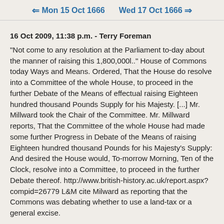← Mon 15 Oct 1666    Wed 17 Oct 1666 →
16 Oct 2009, 11:38 p.m. - Terry Foreman
"Not come to any resolution at the Parliament to-day about the manner of raising this 1,800,000l.." House of Commons today Ways and Means. Ordered, That the House do resolve into a Committee of the whole House, to proceed in the further Debate of the Means of effectual raising Eighteen hundred thousand Pounds Supply for his Majesty. [...] Mr. Millward took the Chair of the Committee. Mr. Millward reports, That the Committee of the whole House had made some further Progress in Debate of the Means of raising Eighteen hundred thousand Pounds for his Majesty's Supply: And desired the House would, To-morrow Morning, Ten of the Clock, resolve into a Committee, to proceed in the further Debate thereof. http://www.british-history.ac.uk/report.aspx?compid=26779 L&M cite Milward as reporting that the Commons was debating whether to use a land-tax or a general excise.